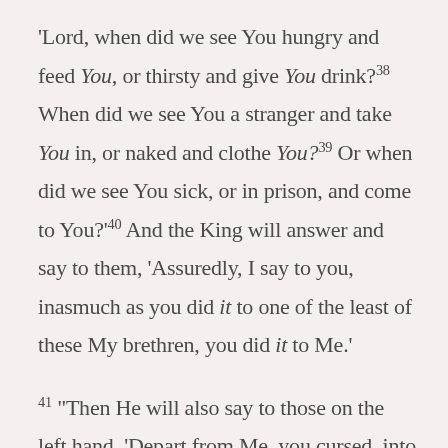'Lord, when did we see You hungry and feed You, or thirsty and give You drink? 38 When did we see You a stranger and take You in, or naked and clothe You? 39 Or when did we see You sick, or in prison, and come to You?' 40 And the King will answer and say to them, 'Assuredly, I say to you, inasmuch as you did it to one of the least of these My brethren, you did it to Me.'
41 "Then He will also say to those on the left hand, 'Depart from Me, you cursed, into the everlasting fire prepared for the devil and his angels; 42 for I was hungry and you gave Me no